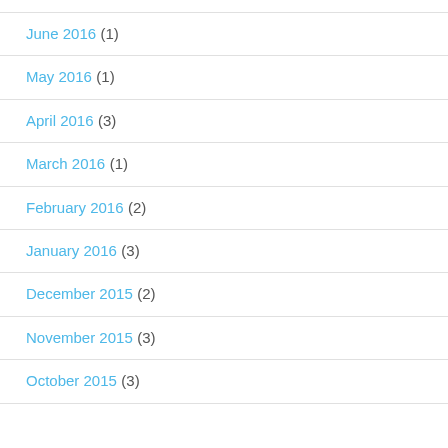June 2016 (1)
May 2016 (1)
April 2016 (3)
March 2016 (1)
February 2016 (2)
January 2016 (3)
December 2015 (2)
November 2015 (3)
October 2015 (3)